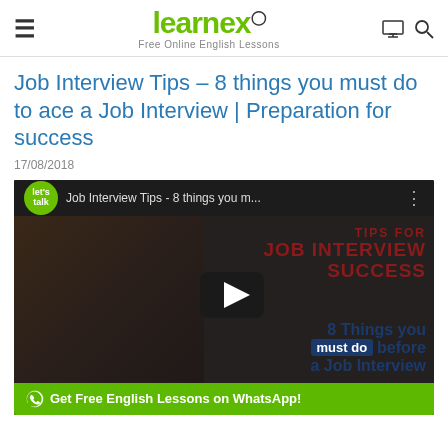learnex — Free Online English Lessons
Job Interview Tips – 8 things you must do to ace a Job Interview | Preparation for success
17/08/2018
[Figure (screenshot): YouTube video thumbnail for 'Job Interview Tips - 8 things you m...' from Let's Talk channel, showing a woman with overlay text 'TIPS FOR JOB INTERVIEW SUCCESS' and '8 Things you must do before a Job Interview' with a play button. A green WhatsApp banner reads 'Get Free English Lessons on WhatsApp!']